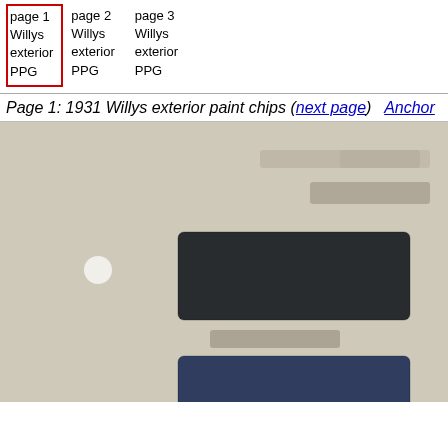| page 1 Willys exterior PPG | page 2 Willys exterior PPG | page 3 Willys exterior PPG |
| --- | --- | --- |
Page 1: 1931 Willys exterior paint chips (next page)  Anchor
[Figure (photo): Blurred scan of a 1931 Willys exterior paint chip page showing dark navy/black and blue paint chip swatches on a cream background, with a green chip partially visible at the bottom.]